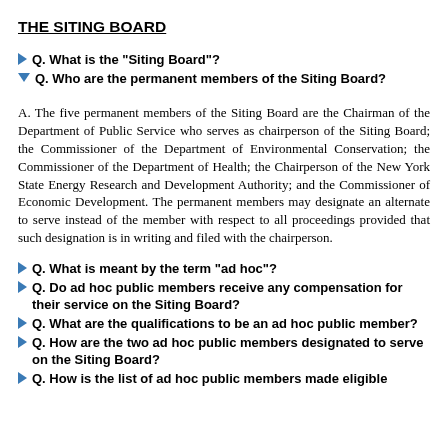THE SITING BOARD
Q. What is the "Siting Board"?
Q. Who are the permanent members of the Siting Board?
A. The five permanent members of the Siting Board are the Chairman of the Department of Public Service who serves as chairperson of the Siting Board; the Commissioner of the Department of Environmental Conservation; the Commissioner of the Department of Health; the Chairperson of the New York State Energy Research and Development Authority; and the Commissioner of Economic Development. The permanent members may designate an alternate to serve instead of the member with respect to all proceedings provided that such designation is in writing and filed with the chairperson.
Q. What is meant by the term "ad hoc"?
Q. Do ad hoc public members receive any compensation for their service on the Siting Board?
Q. What are the qualifications to be an ad hoc public member?
Q. How are the two ad hoc public members designated to serve on the Siting Board?
Q. How is the list of ad hoc public members made eligible...